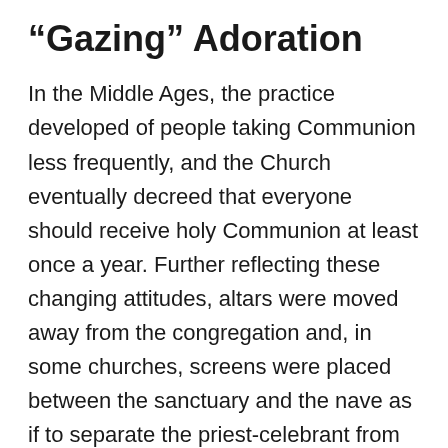“Gazing” Adoration
In the Middle Ages, the practice developed of people taking Communion less frequently, and the Church eventually decreed that everyone should receive holy Communion at least once a year. Further reflecting these changing attitudes, altars were moved away from the congregation and, in some churches, screens were placed between the sanctuary and the nave as if to separate the priest-celebrant from the people.
Being physically separated from the actions around the altar and infrequently receiving holy Communion gave rise to the phenomena of